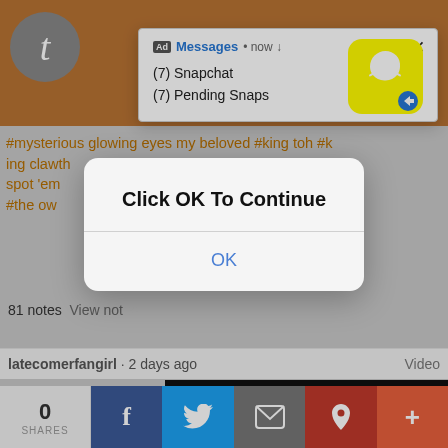[Figure (screenshot): Tumblr mobile app screenshot showing hashtag post with orange/brown top bar and Tumblr 't' icon]
#mysterious glowing eyes my beloved #king toh #king clawthorne was the only #sillies you can spot 'em #fanart #the owl house #the owl
81 notes   View notes
latecomerfangirl · 2 days ago   Video
[Figure (screenshot): Snapchat ad notification showing Messages now, (7) Snapchat, (7) Pending Snaps with Snapchat ghost logo]
Ad  Messages • now ↓
(7) Snapchat
(7) Pending Snaps
[Figure (screenshot): iOS-style dialog box with text 'Click OK To Continue' and an OK button]
Click OK To Continue
OK
0
SHARES